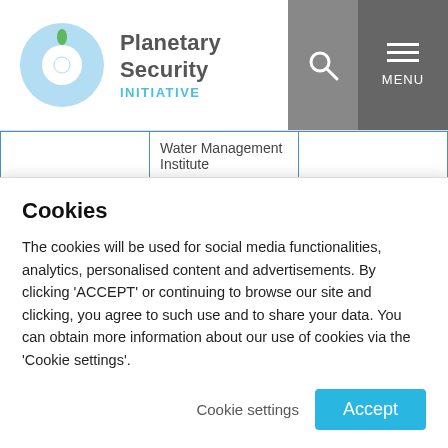Planetary Security INITIATIVE
|  |  |  |
| --- | --- | --- |
|  | Water Management Institute |  |
| Good Water ... | EcoPeace | Jordan, Israel and |
Cookies
The cookies will be used for social media functionalities, analytics, personalised content and advertisements. By clicking 'ACCEPT' or continuing to browse our site and clicking, you agree to such use and to share your data. You can obtain more information about our use of cookies via the 'Cookie settings'.
Cookie settings  Accept